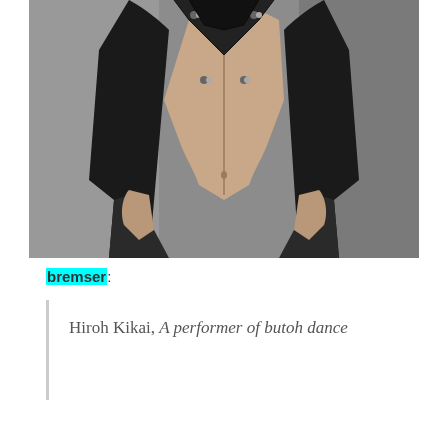[Figure (photo): Black and white photograph of Hiroh Kikai, an older man with white hair wearing an open black jacket and black pants, hands in pockets, torso exposed, standing against a grey background.]
bremser:
Hiroh Kikai, A performer of butoh dance